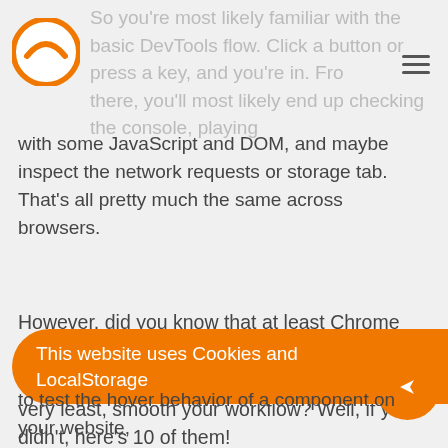So you're most likely familiar with the basic DevTools flow. Click a button or press a key, and you're in. From there, you'll most likely end up checking the console, playing with some JavaScript and DOM, and maybe inspect the network requests or storage tab. That's all pretty much the same across browsers.
with some JavaScript and DOM, and maybe inspect the network requests or storage tab. That's all pretty much the same across browsers.
However, did you know that at least Chrome DevTools have many commonly unknown features that can save your dev life or, at the very least, smooth your workflow? Well, if you didn't, here's 10 of them!
1. Freezing
We're starting with a banger!
to test the hover behavior of a component on your website,